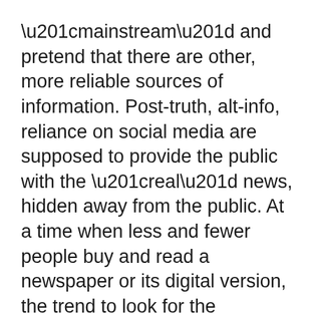“mainstream” and pretend that there are other, more reliable sources of information. Post-truth, alt-info, reliance on social media are supposed to provide the public with the “real” news, hidden away from the public. At a time when less and fewer people buy and read a newspaper or its digital version, the trend to look for the information in non-professional media is increasing. It is a dangerous trap.
These self-proclaimed alternative media are the way some states, political parties or lobbies are pushing their own agenda: do away with democracy and real journalism to better manipulate masses and achieve control over them. Make the public believe it